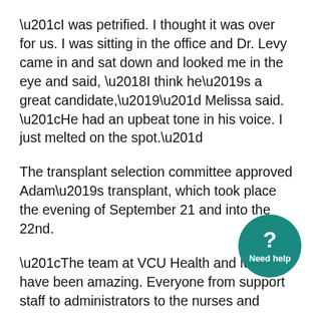“I was petrified. I thought it was over for us. I was sitting in the office and Dr. Levy came in and sat down and looked me in the eye and said, ‘I think he’s a great candidate,’” Melissa said. “He had an upbeat tone in his voice. I just melted on the spot.”
The transplant selection committee approved Adam’s transplant, which took place the evening of September 21 and into the 22nd.
“The team at VCU Health and McGuire have been amazing. Everyone from support staff to administrators to the nurses and doctors and surgeons and interns — they have all had a smile on their faces and remained upbeat. They made it as easy and enjoyable as they could,” Melissa said. “This has truly been a gift — for him, for us, for our seven children.” (The